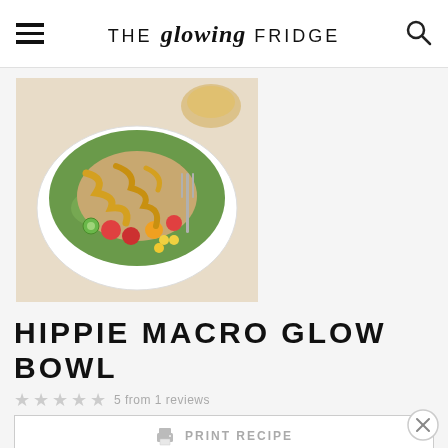THE glowing FRIDGE
[Figure (photo): A bowl filled with salad greens, tomatoes, cucumber, corn, grains, and drizzled with a golden sauce, shot from above, in a white bowl.]
HIPPIE MACRO GLOW BOWL
★ ★ ★ ★ ★ 5 from 1 reviews
PRINT RECIPE
PIN RECIPE